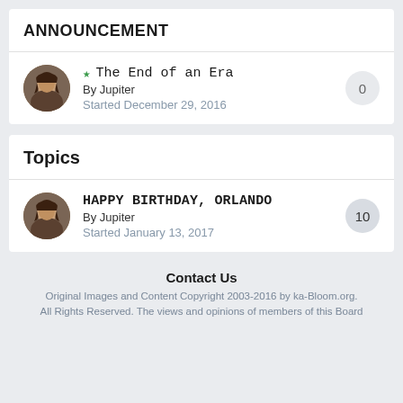ANNOUNCEMENT
★ The End of an Era
By Jupiter
Started December 29, 2016
Topics
HAPPY BIRTHDAY, ORLANDO
By Jupiter
Started January 13, 2017
Contact Us
Original Images and Content Copyright 2003-2016 by ka-Bloom.org. All Rights Reserved. The views and opinions of members of this Board